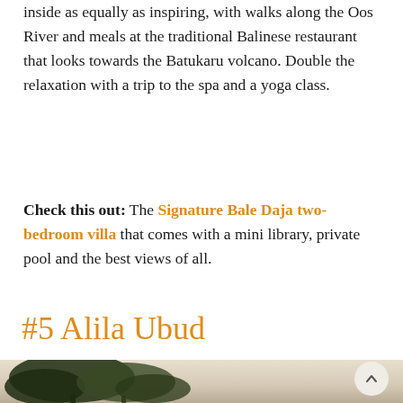inside as equally as inspiring, with walks along the Oos River and meals at the traditional Balinese restaurant that looks towards the Batukaru volcano. Double the relaxation with a trip to the spa and a yoga class.
Check this out: The Signature Bale Daja two-bedroom villa that comes with a mini library, private pool and the best views of all.
#5 Alila Ubud
[Figure (photo): Outdoor scene with tree silhouettes against a pale sky, partial view of hotel grounds]